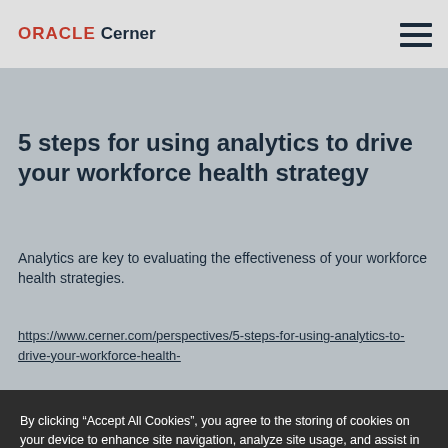ORACLE Cerner
5 steps for using analytics to drive your workforce health strategy
Analytics are key to evaluating the effectiveness of your workforce health strategies.
https://www.cerner.com/perspectives/5-steps-for-using-analytics-to-drive-your-workforce-health-
By clicking “Accept All Cookies”, you agree to the storing of cookies on your device to enhance site navigation, analyze site usage, and assist in our marketing efforts. Cookie Policy
Cookies Settings
Accept All Cookies